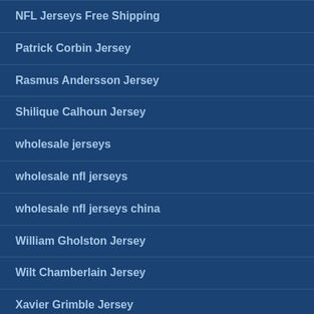NFL Jerseys Free Shipping
Patrick Corbin Jersey
Rasmus Andersson Jersey
Shilique Calhoun Jersey
wholesale jerseys
wholesale nfl jerseys
wholesale nfl jerseys china
William Gholston Jersey
Wilt Chamberlain Jersey
Xavier Grimble Jersey